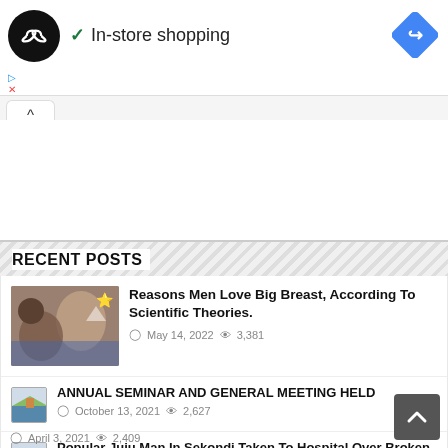[Figure (screenshot): Business logo: black circle with infinity-like double arrow symbol in white]
✓ In-store shopping
[Figure (illustration): Blue diamond/square rotated 45 degrees with white right-turn arrow, like a Google Maps navigation icon]
▷
✕
^
RECENT POSTS
[Figure (photo): Thumbnail photo of couple]
Reasons Men Love Big Breast, According To Scientific Theories.
May 14, 2022  3,381
[Figure (illustration): Small thumbnail icon with landscape image]
ANNUAL SEMINAR AND GENERAL MEETING HELD
October 13, 2021  2,627
[Figure (illustration): Small thumbnail icon with landscape image]
Popular Juju Man In Sekondi Taken To Hospital Over Broken Heart Issues
April 3, 2021  2,409